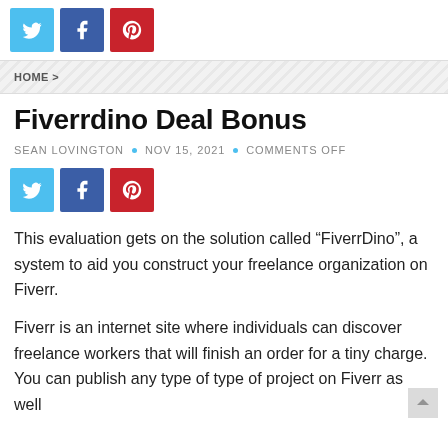[Figure (other): Social share buttons row: Twitter (cyan), Facebook (blue), Pinterest (red)]
HOME >
Fiverrdino Deal Bonus
SEAN LOVINGTON • NOV 15, 2021 • COMMENTS OFF
[Figure (other): Social share buttons row: Twitter (cyan), Facebook (blue), Pinterest (red)]
This evaluation gets on the solution called “FiverrDino”, a system to aid you construct your freelance organization on Fiverr.
Fiverr is an internet site where individuals can discover freelance workers that will finish an order for a tiny charge. You can publish any type of type of project on Fiverr as well